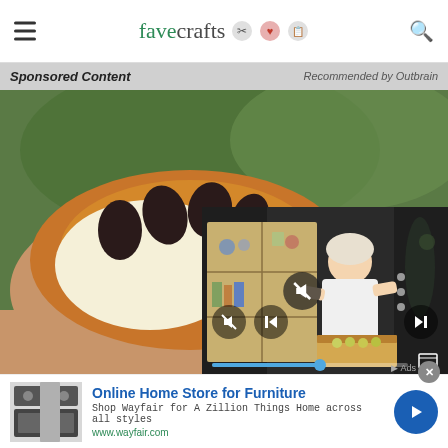favecrafts
Sponsored Content   Recommended by Outbrain
[Figure (photo): Hand holding an open tropical fruit (cacao pod) showing dark seeds and white pith inside, with a green blurred background. A video player overlay is visible in the bottom-right showing a woman in white shirt at a craft table with shelving unit behind her.]
[Figure (screenshot): Advertisement banner: Online Home Store for Furniture - Shop Wayfair for A Zillion Things Home across all styles - www.wayfair.com, with appliance image on left and blue arrow button on right.]